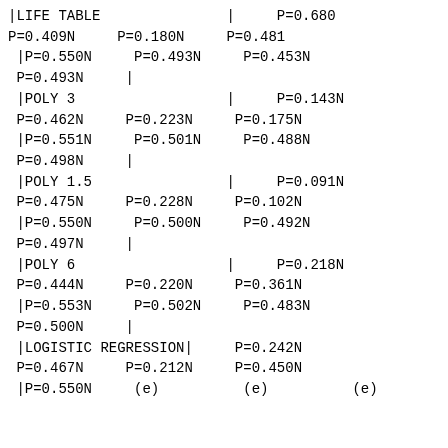|LIFE TABLE               |     P=0.680
P=0.409N     P=0.180N     P=0.481
 |P=0.550N     P=0.493N     P=0.453N
 P=0.493N     |
 |POLY 3                  |     P=0.143N
 P=0.462N     P=0.223N     P=0.175N
 |P=0.551N     P=0.501N     P=0.488N
 P=0.498N     |
 |POLY 1.5                |     P=0.091N
 P=0.475N     P=0.228N     P=0.102N
 |P=0.550N     P=0.500N     P=0.492N
 P=0.497N     |
 |POLY 6                  |     P=0.218N
 P=0.444N     P=0.220N     P=0.361N
 |P=0.553N     P=0.502N     P=0.483N
 P=0.500N     |
 |LOGISTIC REGRESSION|     P=0.242N
 P=0.467N     P=0.212N     P=0.450N
 |P=0.550N     (e)          (e)          (e)